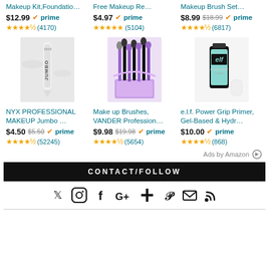Makeup Kit, Foundatio...
$12.99 prime
★★★★½ (4170)
Free Makeup Re...
$4.97 prime
★★★★★ (5104)
Makeup Brush Set...
$8.99 $18.99 prime
★★★★½ (6817)
[Figure (photo): NYX Professional Makeup Jumbo pencil product photo]
[Figure (photo): Make up Brushes VANDER set with purple case product photo]
[Figure (photo): e.l.f. Power Grip Primer gel-based product photo]
NYX PROFESSIONAL MAKEUP Jumbo ...
$4.50 $5.50 prime
★★★★½ (52245)
Make up Brushes, VANDER Profession...
$9.98 $19.98 prime
★★★★½ (5654)
e.l.f. Power Grip Primer, Gel-Based & Hydr...
$10.00 prime
★★★★½ (868)
Ads by Amazon
CONTACT/FOLLOW
[Figure (infographic): Social media icons: Twitter, Instagram, Facebook, Google+, Plus, Pinterest, Email, RSS]